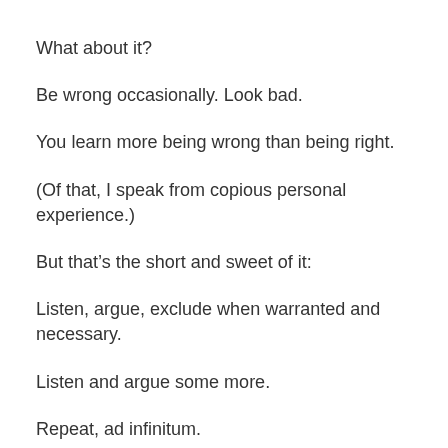What about it?
Be wrong occasionally. Look bad.
You learn more being wrong than being right.
(Of that, I speak from copious personal experience.)
But that’s the short and sweet of it:
Listen, argue, exclude when warranted and necessary.
Listen and argue some more.
Repeat, ad infinitum.
We keep that up and things might, by tiny increments and agonizingly slowly, get better.